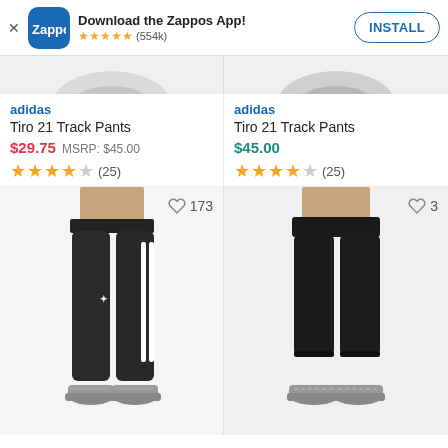[Figure (screenshot): Zappos app install banner with logo, star rating (554k reviews), and INSTALL button]
[Figure (photo): Partial top of two product images showing shoes/pants at very top]
adidas
Tiro 21 Track Pants
$29.75 MSRP: $45.00
(25) 4 out of 5 stars
adidas
Tiro 21 Track Pants
$45.00
(25) 4 out of 5 stars
[Figure (photo): Woman wearing black adidas Tiro 21 Track Pants with white stripe, grey sneakers, heart icon with count 173]
[Figure (photo): Woman wearing black cropped track pants, grey sneakers, heart icon with count 3]